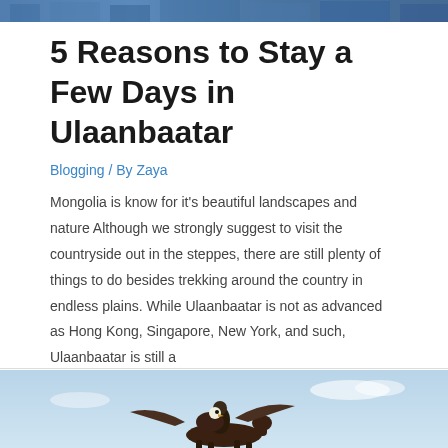[Figure (photo): Top banner image showing a blue-toned scene, likely a building or cityscape in Ulaanbaatar.]
5 Reasons to Stay a Few Days in Ulaanbaatar
Blogging / By Zaya
Mongolia is know for it's beautiful landscapes and nature Although we strongly suggest to visit the countryside out in the steppes, there are still plenty of things to do besides trekking around the country in endless plains. While Ulaanbaatar is not as advanced as Hong Kong, Singapore, New York, and such, Ulaanbaatar is still a …
Read More »
[Figure (photo): Photo of a person on horseback with a large eagle with wings spread, against a blue sky background — likely depicting Mongolian eagle hunting.]